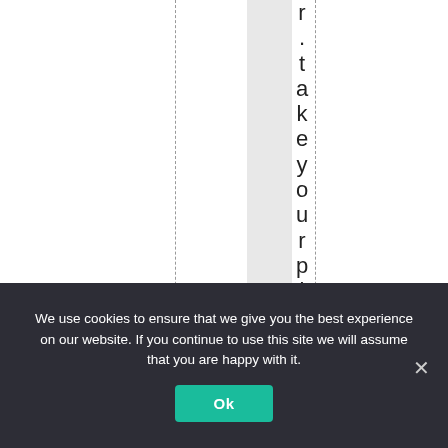[Figure (other): White background with dashed vertical lines and a gray shaded column, with vertical rotated text reading '-take your pick out of' running top to bottom]
We use cookies to ensure that we give you the best experience on our website. If you continue to use this site we will assume that you are happy with it.